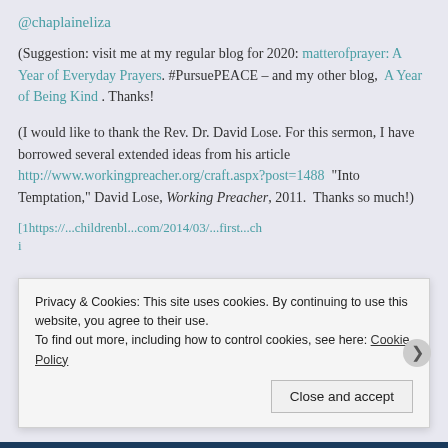@chaplaineliza
(Suggestion: visit me at my regular blog for 2020: matterofprayer: A Year of Everyday Prayers. #PursuePEACE – and my other blog,  A Year of Being Kind . Thanks!
(I would like to thank the Rev. Dr. David Lose. For this sermon, I have borrowed several extended ideas from his article http://www.workingpreacher.org/craft.aspx?post=1488  "Into Temptation," David Lose, Working Preacher, 2011.  Thanks so much!)
[1https://...
Privacy & Cookies: This site uses cookies. By continuing to use this website, you agree to their use.
To find out more, including how to control cookies, see here: Cookie Policy
Close and accept